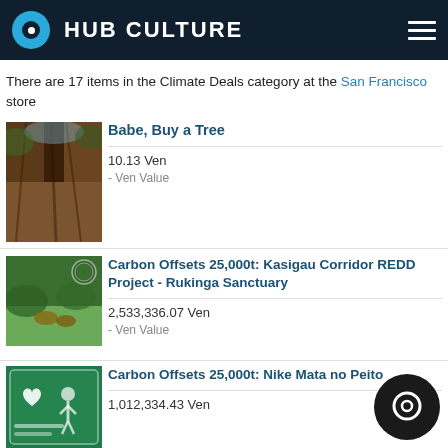HUB CULTURE
There are 17 items in the Climate Deals category at the San Francisco store
[Figure (photo): Looking up through the trunk of a tall tree, brown bark visible against sky and foliage]
Babe, Buy a Tree
10.13 Ven
- Ven Value
[Figure (photo): Green landscape with animals, a circular watermark/stamp visible in upper right corner]
Carbon Offsets 25,000t: Kasigau Corridor REDD Project - Rukinga Sanctuary
2,533,336.07 Ven
- Ven Value
[Figure (photo): Green background with heart and figure graphic, text 'Carbon Offsets 25,000t: Nike Mata no Peito']
Carbon Offsets 25,000t: Nike Mata no Peito
1,013,334.43 Ven